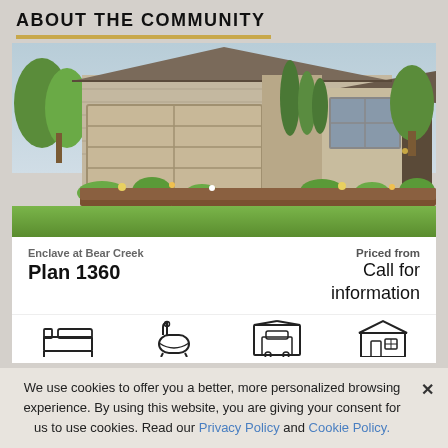ABOUT THE COMMUNITY
[Figure (photo): Rendered exterior photo of a single-story stone and stucco home with a two-car garage, manicured lawn, flower beds, and cypress trees.]
Enclave at Bear Creek
Plan 1360
Priced from
Call for information
[Figure (infographic): Four home feature icons: bed, bath, garage (car), and storage/garage building]
We use cookies to offer you a better, more personalized browsing experience. By using this website, you are giving your consent for us to use cookies. Read our Privacy Policy and Cookie Policy.